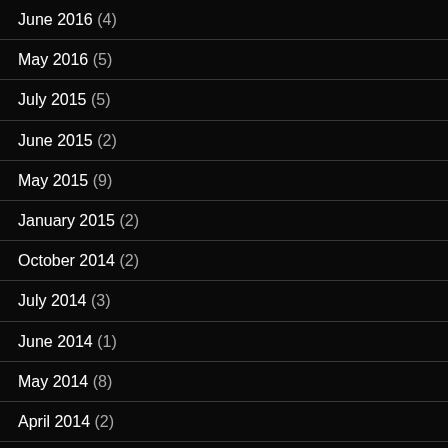June 2016 (4)
May 2016 (5)
July 2015 (5)
June 2015 (2)
May 2015 (9)
January 2015 (2)
October 2014 (2)
July 2014 (3)
June 2014 (1)
May 2014 (8)
April 2014 (2)
March 2014 (2)
January 2014 (9)